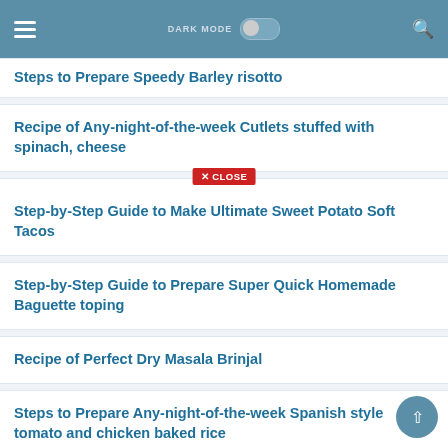DARK MODE [toggle] [search]
Steps to Prepare Speedy Barley risotto
Recipe of Any-night-of-the-week Cutlets stuffed with spinach, cheese
Step-by-Step Guide to Make Ultimate Sweet Potato Soft Tacos
Step-by-Step Guide to Prepare Super Quick Homemade Baguette toping
Recipe of Perfect Dry Masala Brinjal
Steps to Prepare Any-night-of-the-week Spanish style tomato and chicken baked rice
Recipe of Favorite Zebra cake